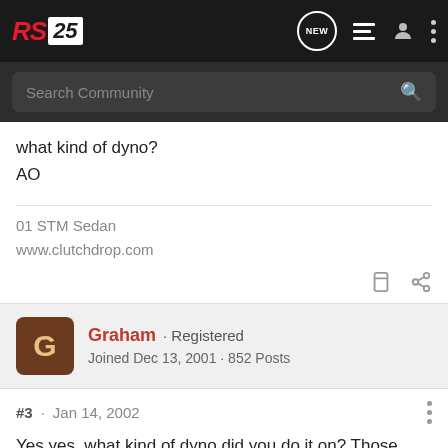RS25 — Search Community
what kind of dyno?
AO
01 STM Sedan
www.clutchdrop.com
Graham · Registered
Joined Dec 13, 2001 · 852 Posts
#3 · Jan 14, 2002
Yes yes, what kind of dyno did you do it on? Those numbers